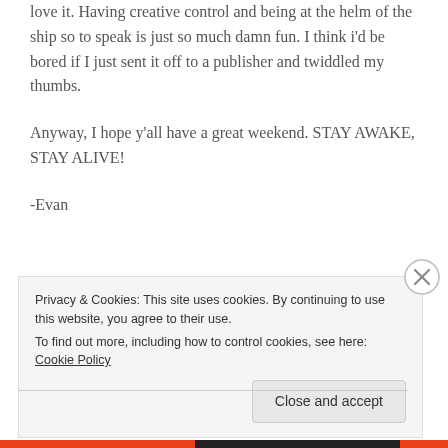love it. Having creative control and being at the helm of the ship so to speak is just so much damn fun. I think i'd be bored if I just sent it off to a publisher and twiddled my thumbs.
Anyway, I hope y'all have a great weekend. STAY AWAKE, STAY ALIVE!
-Evan
Privacy & Cookies: This site uses cookies. By continuing to use this website, you agree to their use.
To find out more, including how to control cookies, see here: Cookie Policy